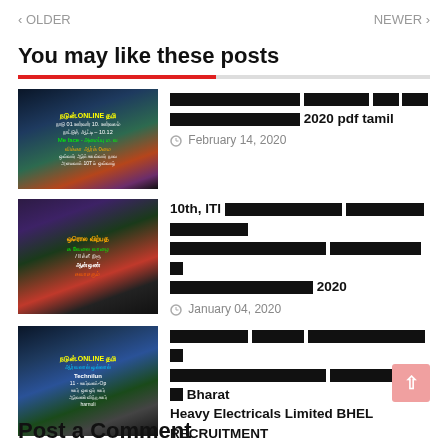< OLDER    NEWER >
You may like these posts
[Tamil] 2020 pdf tamil — February 14, 2020
10th, ITI [Tamil] [Tamil] [Tamil] 2020 — January 04, 2020
[Tamil] Bharat Heavy Electricals Limited BHEL RECRUITMENT 2019 – 2020 — December 18, 2019
Post a Comment